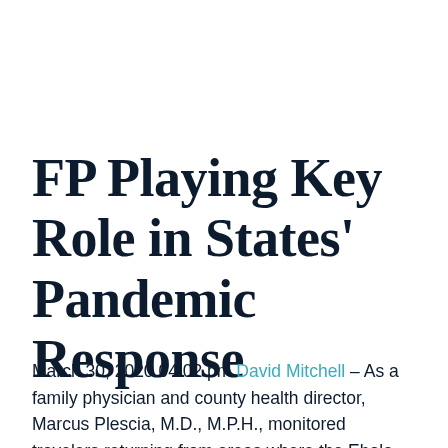FP Playing Key Role in States' Pandemic Response
March 30, 2020 04:02 pm David Mitchell – As a family physician and county health director, Marcus Plescia, M.D., M.P.H., monitored travelers returning from areas where the Ebola virus is endemic, performed contact